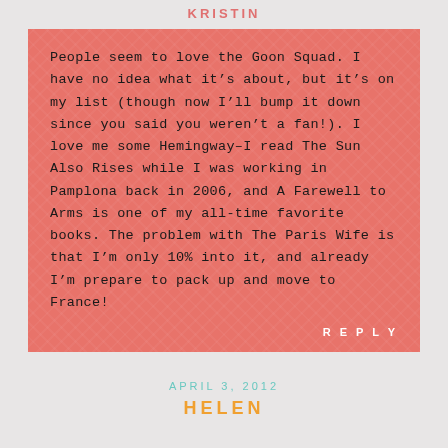KRISTIN
People seem to love the Goon Squad. I have no idea what it’s about, but it’s on my list (though now I’ll bump it down since you said you weren’t a fan!). I love me some Hemingway–I read The Sun Also Rises while I was working in Pamplona back in 2006, and A Farewell to Arms is one of my all-time favorite books. The problem with The Paris Wife is that I’m only 10% into it, and already I’m prepare to pack up and move to France!
REPLY
APRIL 3, 2012
HELEN